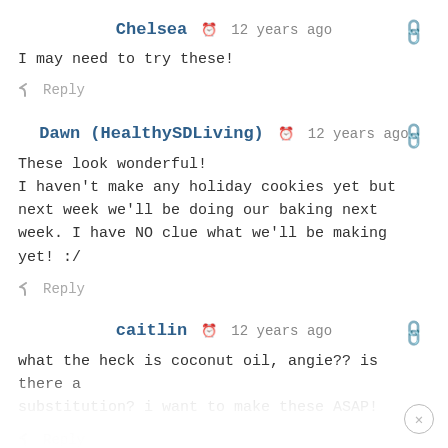Chelsea  12 years ago
I may need to try these!
Reply
Dawn (HealthySDLiving)  12 years ago
These look wonderful!
I haven't make any holiday cookies yet but next week we'll be doing our baking next week. I have NO clue what we'll be making yet! :/
Reply
caitlin  12 years ago
what the heck is coconut oil, angie?? is there a substitution? i want to make these ASAP!
Reply